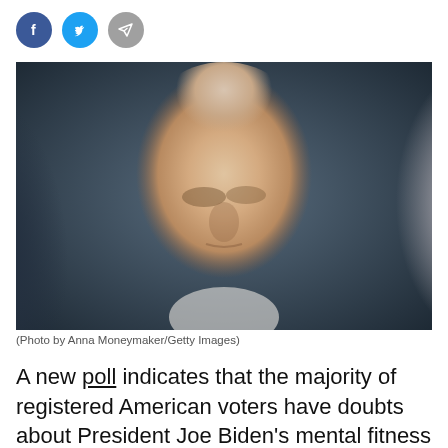[Figure (other): Social media share icons: Facebook (blue circle), Twitter (blue circle), Telegram/send (gray circle)]
[Figure (photo): Photo of President Joe Biden looking downward, surrounded by blurred figures, taken by Anna Moneymaker for Getty Images]
(Photo by Anna Moneymaker/Getty Images)
A new poll indicates that the majority of registered American voters have doubts about President Joe Biden’s mental fitness